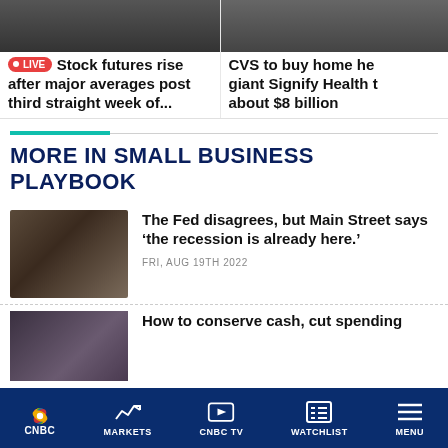LIVE Stock futures rise after major averages post third straight week of...
CVS to buy home he giant Signify Health t about $8 billion
MORE IN SMALL BUSINESS PLAYBOOK
[Figure (photo): Person with hand on head looking stressed]
The Fed disagrees, but Main Street says ‘the recession is already here.’
FRI, AUG 19TH 2022
[Figure (photo): Person in partial view]
How to conserve cash, cut spending
CNBC | MARKETS | CNBC TV | WATCHLIST | MENU